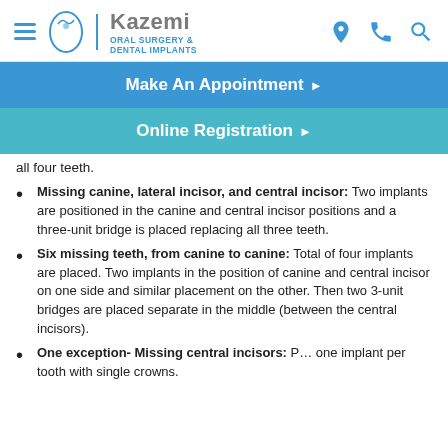Kazemi Oral Surgery & Dental Implants
Make An Appointment
Online Registration
all four teeth.
Missing canine, lateral incisor, and central incisor: Two implants are positioned in the canine and central incisor positions and a three-unit bridge is placed replacing all three teeth.
Six missing teeth, from canine to canine: Total of four implants are placed. Two implants in the position of canine and central incisor on one side and similar placement on the other. Then two 3-unit bridges are placed separate in the middle (between the central incisors).
One exception- Missing central incisors: P... one implant per tooth with single crowns.